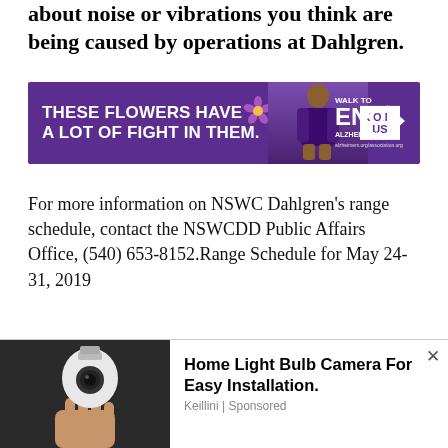about noise or vibrations you think are being caused by operations at Dahlgren.
[Figure (infographic): Purple advertisement banner for Walk to End Alzheimer's featuring text 'These Flowers Have A Lot Of Fight In Them.' with a woman in purple, a 'Join Us' button, and 'Walk to End Alzheimer's' logo with arrow.]
For more information on NSWC Dahlgren’s range schedule, contact the NSWCDD Public Affairs Office, (540) 653-8152.Range Schedule for May 24-31, 2019
Friday, May 24
No Testing Scheduled
[Figure (photo): Advertisement showing a home light bulb camera product with the text 'Home Light Bulb Camera For Easy Installation.' and source 'Keillini | Sponsored', with a close button.]